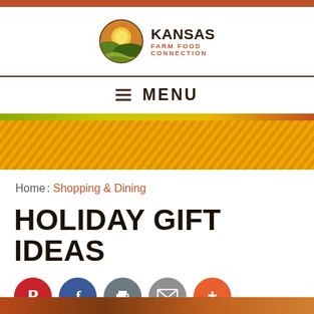[Figure (logo): Kansas Farm Food Connection logo with circular farm landscape icon and text]
≡ MENU
[Figure (illustration): Decorative gradient banner strip with diagonal stripe pattern in yellow/orange/gold tones]
Home : Shopping & Dining
HOLIDAY GIFT IDEAS
[Figure (infographic): Row of social sharing icons: Pinterest (red), Facebook (blue), Print (gray), Email (gray), More (orange)]
[Figure (photo): Partial photo at bottom of page, brown/warm tones]